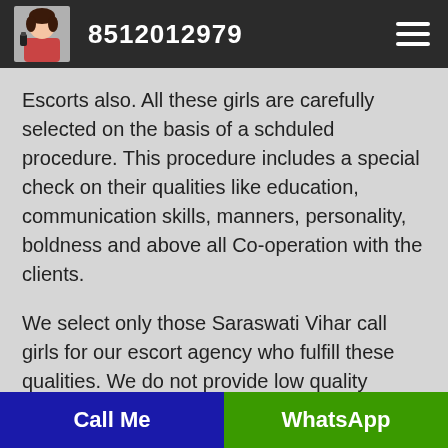8512012979
Escorts also. All these girls are carefully selected on the basis of a schduled procedure. This procedure includes a special check on their qualities like education, communication skills, manners, personality, boldness and above all Co-operation with the clients.
We select only those Saraswati Vihar call girls for our escort agency who fulfill these qualities. We do not provide low quality escort service as we provide only high class escort services to VIPs
Call Me   WhatsApp